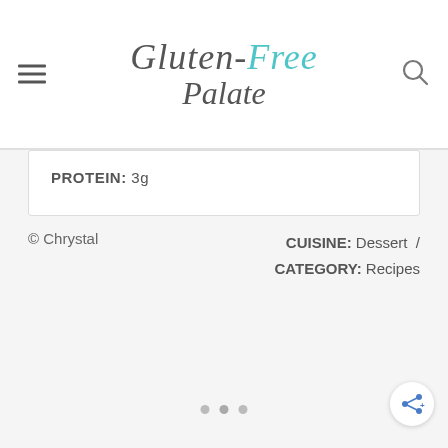[Figure (logo): Gluten-Free Palate website logo with hamburger menu icon on left and search icon on right]
PROTEIN: 3g
© Chrystal
CUISINE: Dessert / CATEGORY: Recipes